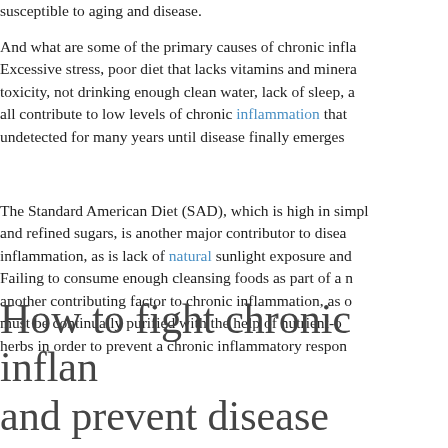susceptible to aging and disease.
And what are some of the primary causes of chronic infla... Excessive stress, poor diet that lacks vitamins and minera... toxicity, not drinking enough clean water, lack of sleep, a... all contribute to low levels of chronic inflammation that... undetected for many years until disease finally emerges...
The Standard American Diet (SAD), which is high in simpl... and refined sugars, is another major contributor to disea... inflammation, as is lack of natural sunlight exposure and... Failing to consume enough cleansing foods as part of a n... another contributing factor to chronic inflammation, as o... must be continually purified with the help of nutrient-o... herbs in order to prevent a chronic inflammatory respon...
How to fight chronic inflan and prevent disease